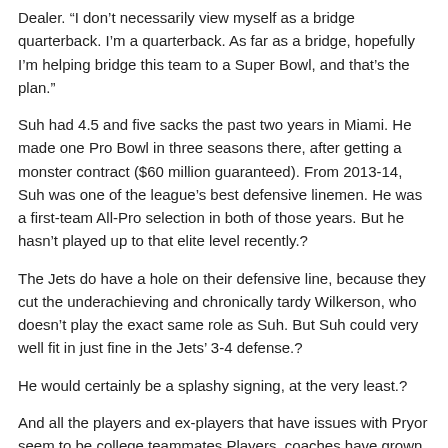Dealer. “I don’t necessarily view myself as a bridge quarterback. I’m a quarterback. As far as a bridge, hopefully I’m helping bridge this team to a Super Bowl, and that’s the plan.”
Suh had 4.5 and five sacks the past two years in Miami. He made one Pro Bowl in three seasons there, after getting a monster contract ($60 million guaranteed). From 2013-14, Suh was one of the league’s best defensive linemen. He was a first-team All-Pro selection in both of those years. But he hasn’t played up to that elite level recently.¿
The Jets do have a hole on their defensive line, because they cut the underachieving and chronically tardy Wilkerson, who doesn’t play the exact same role as Suh. But Suh could very well fit in just fine in the Jets’ 3-4 defense.¿
He would certainly be a splashy signing, at the very least.¿
And all the players and ex-players that have issues with Pryor seem to be college teammates.Players, coaches have grown accustomed to Brown complaining.The former star join the Qingdao Eagles of the